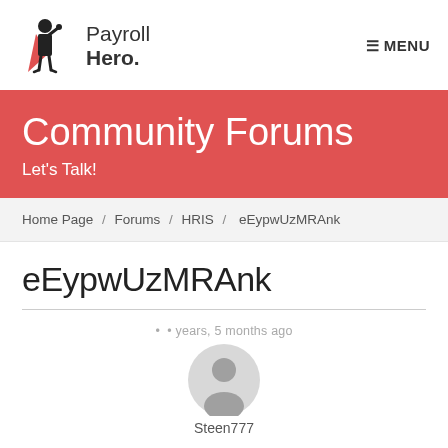[Figure (logo): Payroll Hero logo — stick figure with cape and 'Payroll Hero.' text]
≡ MENU
Community Forums
Let's Talk!
Home Page / Forums / HRIS / eEypwUzMRAnk
eEypwUzMRAnk
• • years, 5 months ago
[Figure (illustration): Generic user avatar circle with person silhouette]
Steen777